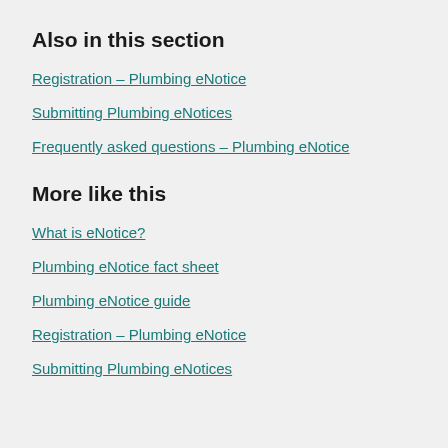Also in this section
Registration – Plumbing eNotice
Submitting Plumbing eNotices
Frequently asked questions – Plumbing eNotice
More like this
What is eNotice?
Plumbing eNotice fact sheet
Plumbing eNotice guide
Registration – Plumbing eNotice
Submitting Plumbing eNotices